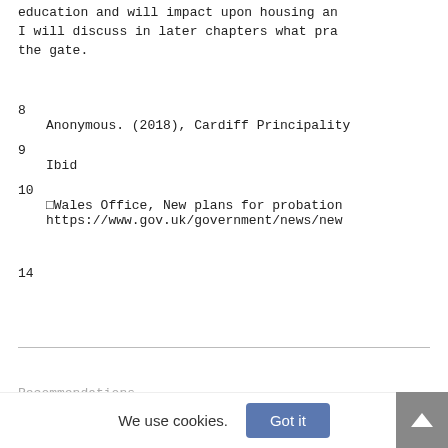education and will impact upon housing an I will discuss in later chapters what pra the gate.
8
  Anonymous. (2018), Cardiff Principality
9
  Ibid
10
    □Wales Office, New plans for probation https://www.gov.uk/government/news/new
14
Recommendations